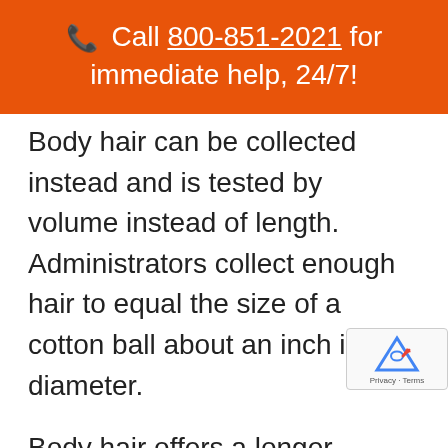📞 Call 800-851-2021 for immediate help, 24/7!
Body hair can be collected instead and is tested by volume instead of length. Administrators collect enough hair to equal the size of a cotton ball about an inch in diameter.
Body hair offers a longer detection window than head hair. Hair collected from an employee's head will detect drug use for about 90-days, while hair